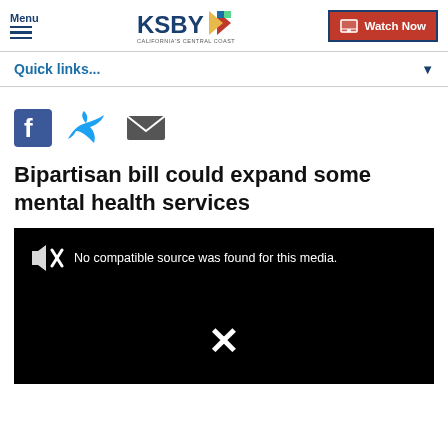Menu | KSBY California's Central Coast | Watch Now
Quick links...
[Figure (other): Social media share icons: Facebook, Twitter, Email]
Bipartisan bill could expand some mental health services
[Figure (other): Video player showing error: No compatible source was found for this media.]